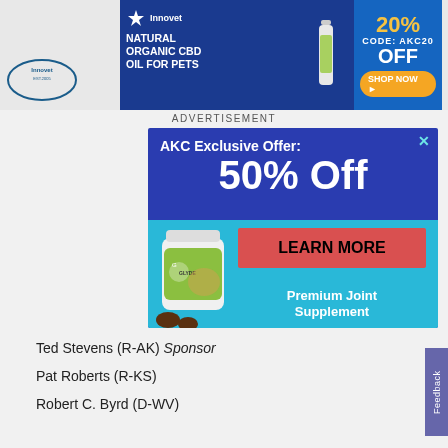[Figure (screenshot): Top banner advertisement for Innovet Natural Organic CBD Oil for Pets with 20% off code AKC20 and Shop Now button]
ADVERTISEMENT
[Figure (screenshot): AKC Exclusive Offer: 50% Off advertisement for Glyde Premium Joint Supplement with Learn More button]
Ted Stevens (R-AK) Sponsor
Pat Roberts (R-KS)
Robert C. Byrd (D-WV)